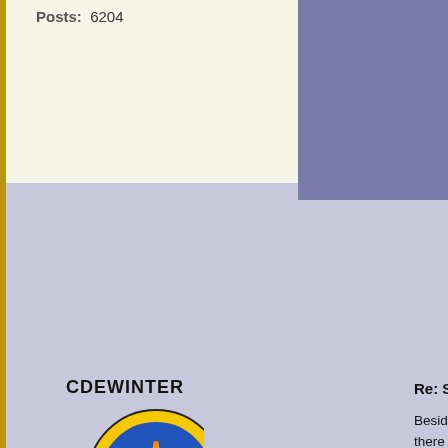Posts: 6204
Oh Lovely ... wonderful tr...
CDEWINTER
[Figure (illustration): Circular badge/avatar with a yellow-outlined blue circle containing a red crown with hearts and a bone, on a blue background]
Rank: Commodore
Joined: Sep 20, 2009
Posts: 989
Re: Songs of t...
Besides loving some of the... there are also several mode... Although, most of what I lis... heard of these bands.
First one of my favourite mo... Montreal. My piratical playi... reading this have actually h... music used in the Hunger G... song used during the credit...
I also enjoy listening; to Re... Great Big Sea (from Newfo... of that particlular Irish grou... I have also recently found Y...
I love Timber Timbre's mus...